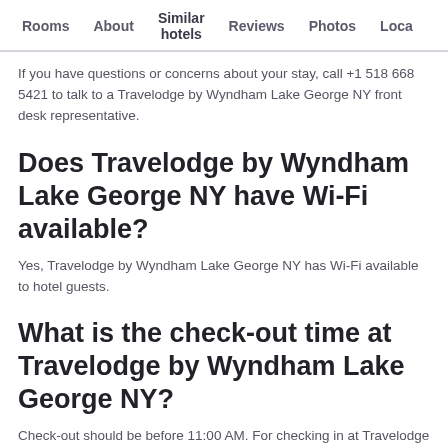Rooms   About   Similar hotels   Reviews   Photos   Loca...
If you have questions or concerns about your stay, call +1 518 668 5421 to talk to a Travelodge by Wyndham Lake George NY front desk representative.
Does Travelodge by Wyndham Lake George NY have Wi-Fi available?
Yes, Travelodge by Wyndham Lake George NY has Wi-Fi available to hotel guests.
What is the check-out time at Travelodge by Wyndham Lake George NY?
Check-out should be before 11:00 AM. For checking in at Travelodge by Wyndham Lake George NY, guests should plan for any time after 3:30 PM on the day of their scheduled arrival.